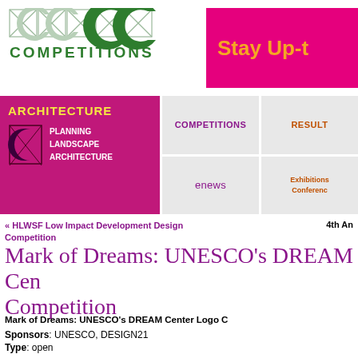[Figure (logo): MCC Competitions logo with geometric X and C shapes in green]
[Figure (other): Pink banner with yellow text 'Stay Up-t']
[Figure (other): Navigation bar with magenta left panel showing ARCHITECTURE with PLANNING, LANDSCAPE, ARCHITECTURE links, and grey right cells with COMPETITIONS, RESULTS, enews, Exhibitions Conferences]
« HLWSF Low Impact Development Design Competition
4th An
Mark of Dreams: UNESCO's DREAM Center Competition
Mark of Dreams: UNESCO's DREAM Center Logo C
Sponsors: UNESCO, DESIGN21
Type: open